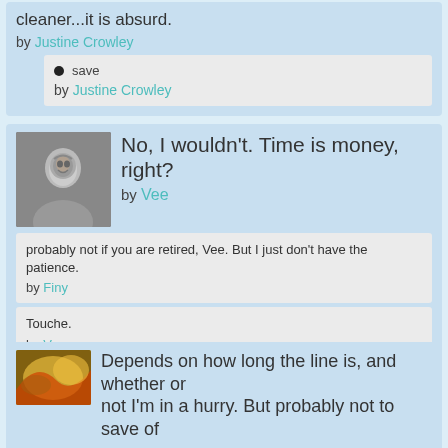cleaner...it is absurd.
by Justine Crowley
save
by Justine Crowley
No, I wouldn't. Time is money, right?
by Vee
probably not if you are retired, Vee. But I just don't have the patience.
by Finy
Touche.
by Vee
Depends on how long the line is, and whether or not I'm in a hurry. But probably not to save of